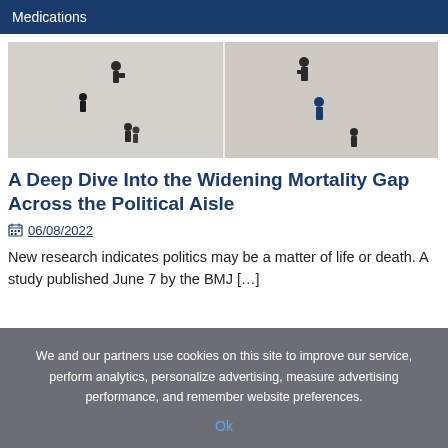Medications
[Figure (photo): Aerial view of people walking on a light-colored surface, split into two panels by a vertical divider]
A Deep Dive Into the Widening Mortality Gap Across the Political Aisle
06/08/2022
New research indicates politics may be a matter of life or death. A study published June 7 by the BMJ […]
We and our partners use cookies on this site to improve our service, perform analytics, personalize advertising, measure advertising performance, and remember website preferences.